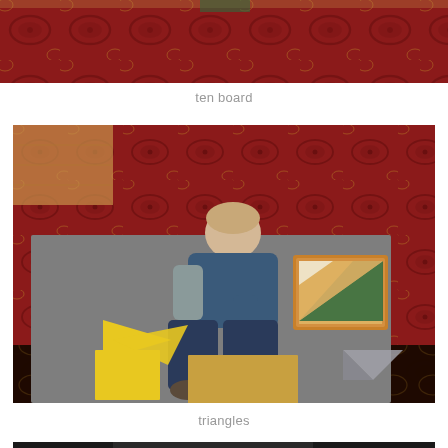[Figure (photo): Top portion of a photo showing a red floral patterned carpet/rug, partially cropped — part of the ten board activity image]
ten board
[Figure (photo): A young boy lying on a grey felt mat on a red floral carpet, working with yellow and tan geometric shape pieces (triangles and rectangles) and a wooden box containing geometric insets — a Montessori triangles activity]
triangles
[Figure (photo): Bottom edge of another photo, partially visible, showing a dark background scene]